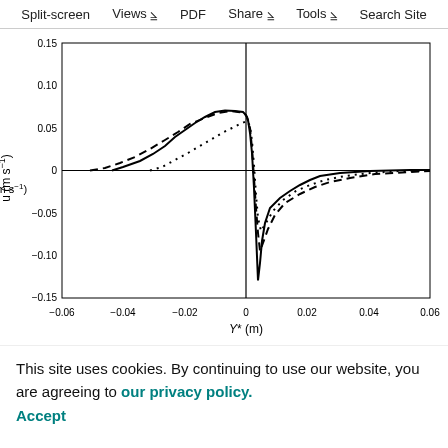Split-screen | Views | PDF | Share | Tools | Search Site
[Figure (continuous-plot): Line plot showing u (m s^-1) vs Y* (m). Three curves: solid line, dashed line, dotted line. Y-axis ranges from -0.15 to 0.15. X-axis ranges from -0.06 to 0.06. Panel labeled B. Curves peak around Y*=-0.01 at about 0.07 m/s and dip sharply near Y*=0 to about -0.13 m/s.]
This site uses cookies. By continuing to use our website, you are agreeing to our privacy policy. Accept